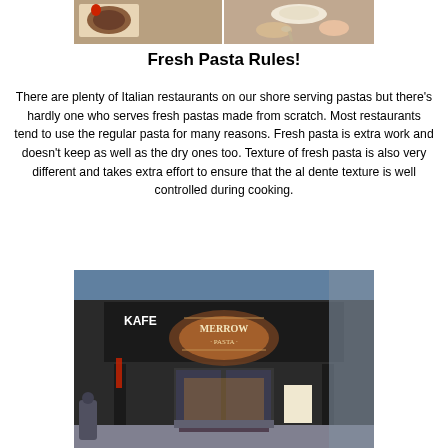[Figure (photo): Photo collage of food dishes including pasta, soup, and seafood]
Fresh Pasta Rules!
There are plenty of Italian restaurants on our shore serving pastas but there's hardly one who serves fresh pastas made from scratch. Most restaurants tend to use the regular pasta for many reasons. Fresh pasta is extra work and doesn't keep as well as the dry ones too. Texture of fresh pasta is also very different and takes extra effort to ensure that the al dente texture is well controlled during cooking.
[Figure (photo): Exterior photo of Merrow Pasta Kafe restaurant storefront with dark facade]